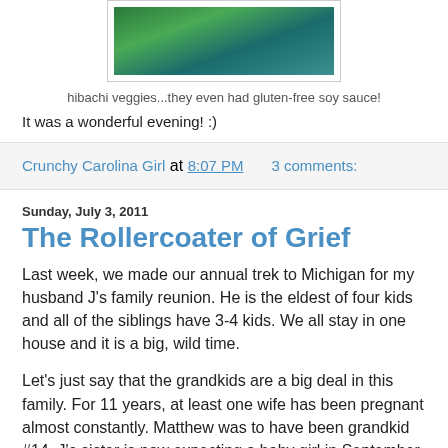[Figure (photo): Photo of hibachi vegetables with green coloring, partially visible at top of page]
hibachi veggies...they even had gluten-free soy sauce!
It was a wonderful evening! :)
Crunchy Carolina Girl at 8:07 PM    3 comments:
Sunday, July 3, 2011
The Rollercoater of Grief
Last week, we made our annual trek to Michigan for my husband J's family reunion. He is the eldest of four kids and all of the siblings have 3-4 kids.  We all stay in one house and it is a big, wild time.
Let's just say that the grandkids are a big deal in this family. For 11 years, at least one wife has been pregnant almost constantly.  Matthew was to have been grandkid #14.  J's sister is now expecting a baby girl in September.  There are